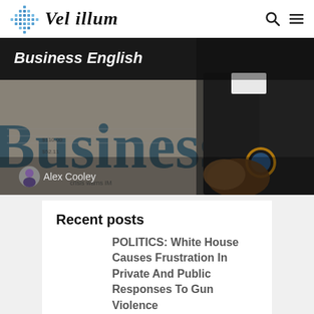Vel illum
[Figure (photo): Hero image of a person in a suit holding a Business newspaper, with text 'Business English' overlaid and author 'Alex Cooley' with avatar at bottom left]
Recent posts
POLITICS: White House Causes Frustration In Private And Public Responses To Gun Violence